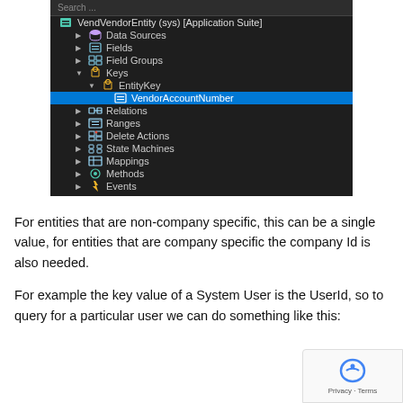[Figure (screenshot): Dark-themed IDE/AOT tree view showing VendVendorEntity (sys) [Application Suite] with expanded nodes: Data Sources, Fields, Field Groups, Keys (expanded with EntityKey expanded showing VendorAccountNumber selected in blue highlight), Relations, Ranges, Delete Actions, State Machines, Mappings, Methods, Events]
For entities that are non-company specific, this can be a single value, for entities that are company specific the company Id is also needed.
For example the key value of a System User is the UserId, so to query for a particular user we can do something like this: